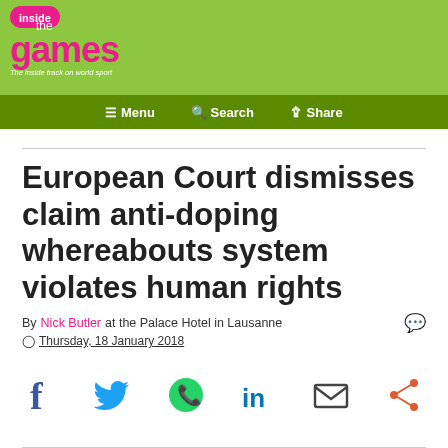inside the games – The inside track on world sport
Menu | Search | Share
European Court dismisses claim anti-doping whereabouts system violates human rights
By Nick Butler at the Palace Hotel in Lausanne
Thursday, 18 January 2018